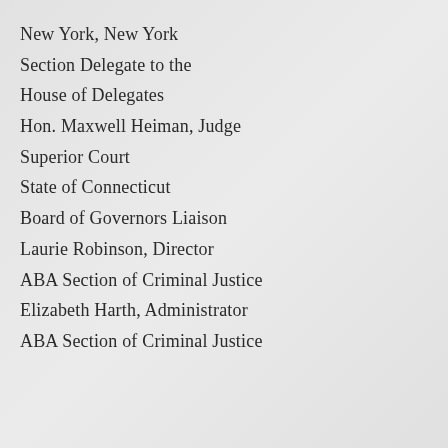New York, New York
Section Delegate to the
House of Delegates
Hon. Maxwell Heiman, Judge
Superior Court
State of Connecticut
Board of Governors Liaison
Laurie Robinson, Director
ABA Section of Criminal Justice
Elizabeth Harth, Administrator
ABA Section of Criminal Justice